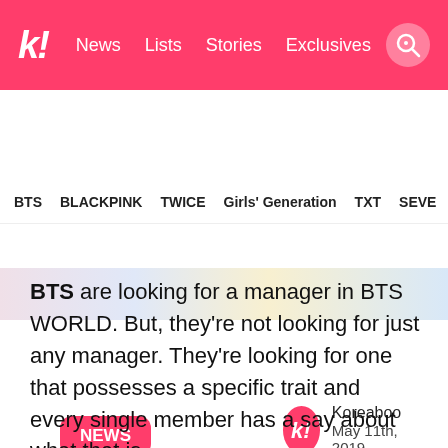k! News Lists Stories Exclusives
BTS BLACKPINK TWICE Girls' Generation TXT SEVE
[Figure (photo): Partial image strip visible beneath navigation]
NEWS
Koreaboo
May 11th, 2019
BTS are looking for a manager in BTS WORLD. But, they're not looking for just any manager. They're looking for one that possesses a specific trait and every single member has a say about what that is.
[Figure (photo): Netmarble BTS promotional image with BTS members in diamond-shaped photo collage]